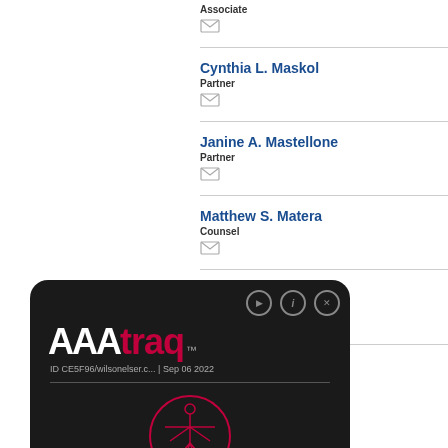Associate
Cynthia L. Maskol
Partner
Janine A. Mastellone
Partner
Matthew S. Matera
Counsel
Jordan Matheny
Counsel
[Figure (logo): AAAtraq logo overlay card with dark background, showing AAA in white, traq in red, TM mark, ID CE5F96/wilsonelser.c... Sep 06 2022, and Vitruvian man style circle icon]
Haley B. Mathis
Associate